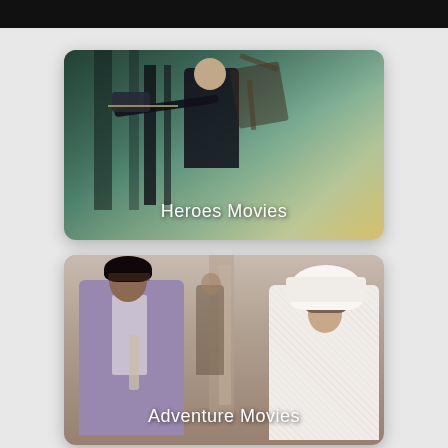[Figure (screenshot): Top partial dark bar at top of screen]
[Figure (photo): Movie category card showing an archer/crossbow hero figure with teal-green background, labeled 'Heroes Movies']
Heroes Movies
[Figure (photo): Movie category card showing a man in purple suit and woman in white wedding dress/hat, labeled 'Adventure Movies']
Adventure Movies